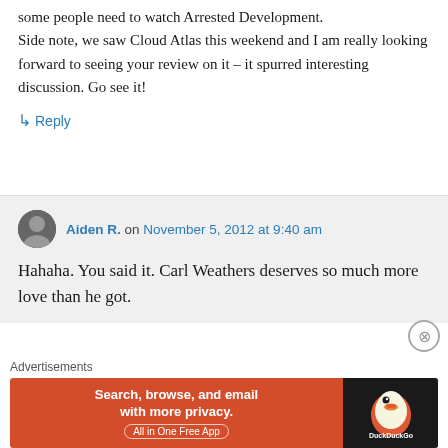some people need to watch Arrested Development. Side note, we saw Cloud Atlas this weekend and I am really looking forward to seeing your review on it – it spurred interesting discussion. Go see it!
↳ Reply
Aiden R. on November 5, 2012 at 9:40 am
Hahaha. You said it. Carl Weathers deserves so much more love than he got.
Advertisements
[Figure (screenshot): DuckDuckGo advertisement banner: 'Search, browse, and email with more privacy. All in One Free App' on orange background with DuckDuckGo duck logo on dark right panel.]